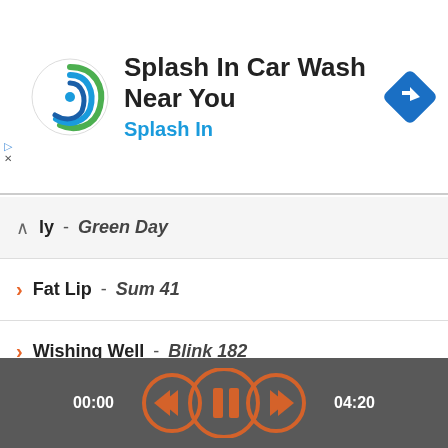[Figure (screenshot): Advertisement banner: Splash In Car Wash logo (swirling blue-green wave circle) with text 'Splash In Car Wash Near You' and subtitle 'Splash In' in blue, plus a blue navigation diamond icon on the right.]
ly - Green Day
Fat Lip - Sum 41
Wishing Well - Blink 182
Climbatize - The Prodigy
Death Of The Prodigy Dancers - The Prodigy
45 A Matter Of Time - Sum 41
Summer - Sum 41
00:00   04:20